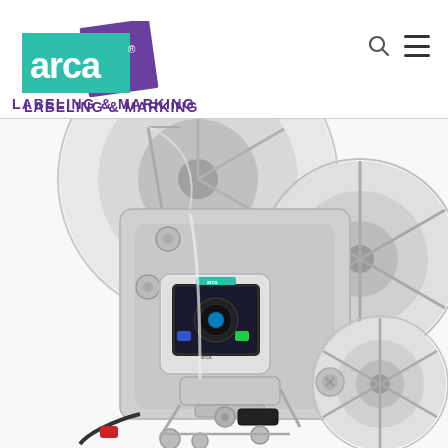[Figure (logo): Arca labeling and marking company logo with teal and purple geometric shapes and 'arca' wordmark in white]
LABELING & MARKING
[Figure (photo): Arca industrial labeling and marking machine with large label reels, mechanical arms, touch screen control panel with Arca branding, and label dispensing mechanism on white background]